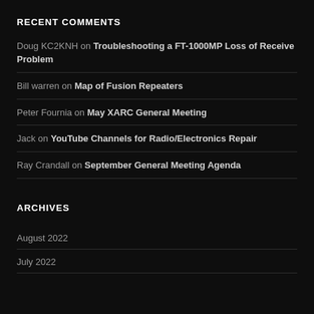RECENT COMMENTS
Doug KC2KNH on Troubleshooting a FT-1000MP Loss of Receive Problem
Bill warren on Map of Fusion Repeaters
Peter Fournia on May XARC General Meeting
Jack on YouTube Channels for Radio/Electronics Repair
Ray Crandall on September General Meeting Agenda
ARCHIVES
August 2022
July 2022